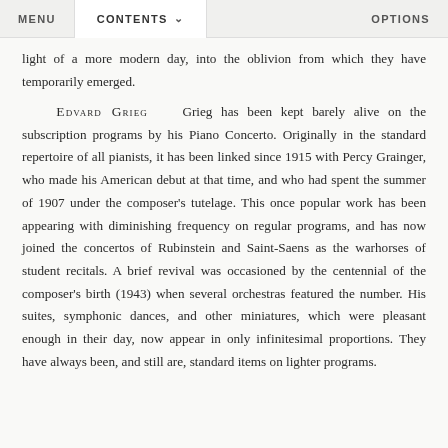MENU   CONTENTS ∨   OPTIONS
light of a more modern day, into the oblivion from which they have temporarily emerged.
EDVARD GRIEG   Grieg has been kept barely alive on the subscription programs by his Piano Concerto. Originally in the standard repertoire of all pianists, it has been linked since 1915 with Percy Grainger, who made his American debut at that time, and who had spent the summer of 1907 under the composer's tutelage. This once popular work has been appearing with diminishing frequency on regular programs, and has now joined the concertos of Rubinstein and Saint-Saens as the warhorses of student recitals. A brief revival was occasioned by the centennial of the composer's birth (1943) when several orchestras featured the number. His suites, symphonic dances, and other miniatures, which were pleasant enough in their day, now appear in only infinitesimal proportions. They have always been, and still are, standard items on lighter programs.